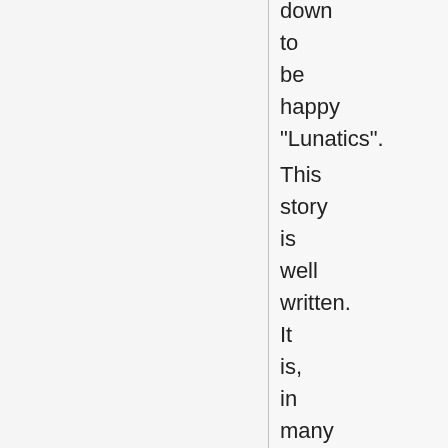down to be happy "Lunatics". This story is well written. It is, in many ways,